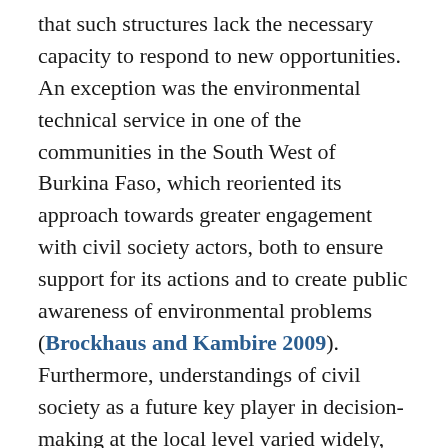that such structures lack the necessary capacity to respond to new opportunities. An exception was the environmental technical service in one of the communities in the South West of Burkina Faso, which reoriented its approach towards greater engagement with civil society actors, both to ensure support for its actions and to create public awareness of environmental problems (Brockhaus and Kambire 2009). Furthermore, understandings of civil society as a future key player in decision-making at the local level varied widely, and some newly elected members in the decentralised structures indicated a rather paternalistic understanding of their own and civil societies role, described as being a passive actor for whom the elected take care: “The population needs to have trust